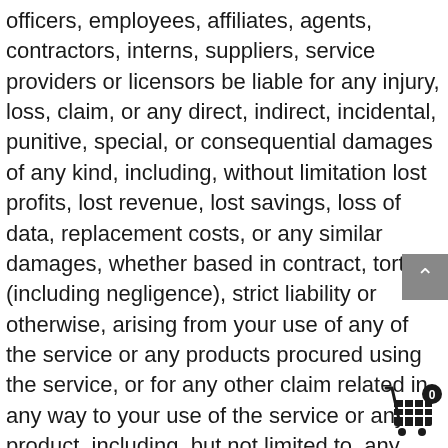officers, employees, affiliates, agents, contractors, interns, suppliers, service providers or licensors be liable for any injury, loss, claim, or any direct, indirect, incidental, punitive, special, or consequential damages of any kind, including, without limitation lost profits, lost revenue, lost savings, loss of data, replacement costs, or any similar damages, whether based in contract, tort (including negligence), strict liability or otherwise, arising from your use of any of the service or any products procured using the service, or for any other claim related in any way to your use of the service or any product, including, but not limited to, any errors or omissions in any content, or any loss or damage of any kind incurred as a result of the use of the service or any content (or product) posted, transmitted, or otherwise made available via the service, even if advised of their possibility. Because some states or jurisdictions do not allow the exclusion or the limitation of liability for consequential or incidental damages, in such sta‍—or